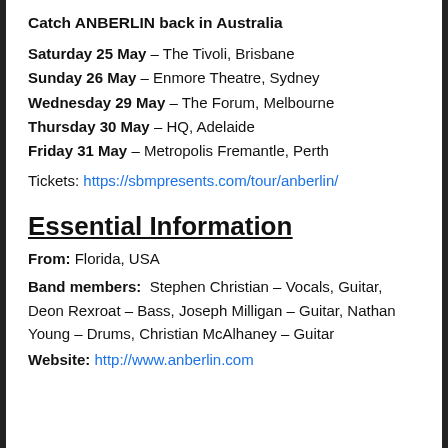Catch ANBERLIN back in Australia
Saturday 25 May – The Tivoli, Brisbane
Sunday 26 May – Enmore Theatre, Sydney
Wednesday 29 May – The Forum, Melbourne
Thursday 30 May – HQ, Adelaide
Friday 31 May – Metropolis Fremantle, Perth
Tickets: https://sbmpresents.com/tour/anberlin/
Essential Information
From: Florida, USA
Band members: Stephen Christian – Vocals, Guitar, Deon Rexroat – Bass, Joseph Milligan – Guitar, Nathan Young – Drums, Christian McAlhaney – Guitar
Website: http://www.anberlin.com